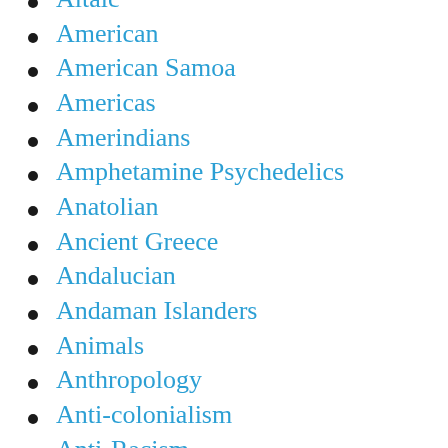Altaic
American
American Samoa
Americas
Amerindians
Amphetamine Psychedelics
Anatolian
Ancient Greece
Andalucian
Andaman Islanders
Animals
Anthropology
Anti-colonialism
Anti-Racism
Anti-Semitism
Anti-Zionism
Antiquity